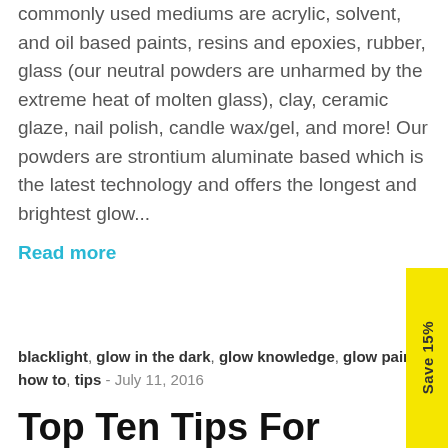commonly used mediums are acrylic, solvent, and oil based paints, resins and epoxies, rubber, glass (our neutral powders are unharmed by the extreme heat of molten glass), clay, ceramic glaze, nail polish, candle wax/gel, and more! Our powders are strontium aluminate based which is the latest technology and offers the longest and brightest glow...
Read more
blacklight, glow in the dark, glow knowledge, glow paint, how to, tips - July 11, 2016
Top Ten Tips For Painting With Glow In